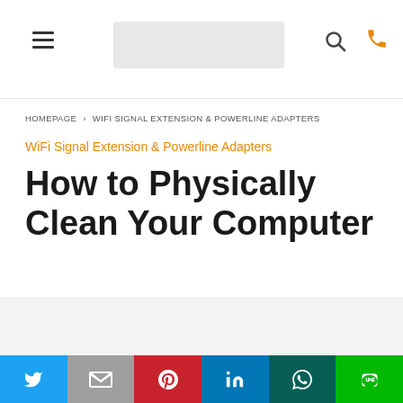Navigation header with hamburger menu, search bar, search icon, and phone icon
HOMEPAGE > WIFI SIGNAL EXTENSION & POWERLINE ADAPTERS
WiFi Signal Extension & Powerline Adapters
How to Physically Clean Your Computer
[Figure (other): Gray content/image area placeholder]
Social share buttons: Twitter, Gmail, Pinterest, LinkedIn, WhatsApp, Line